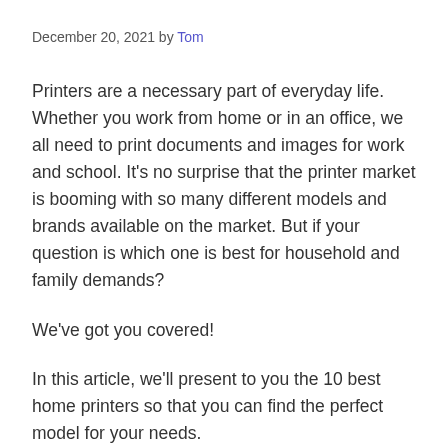December 20, 2021 by Tom
Printers are a necessary part of everyday life. Whether you work from home or in an office, we all need to print documents and images for work and school. It’s no surprise that the printer market is booming with so many different models and brands available on the market. But if your question is which one is best for household and family demands?
We’ve got you covered!
In this article, we’ll present to you the 10 best home printers so that you can find the perfect model for your needs.